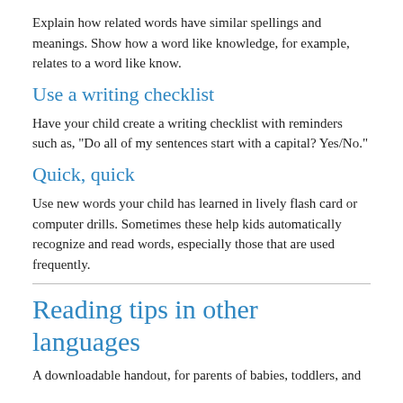Explain how related words have similar spellings and meanings. Show how a word like knowledge, for example, relates to a word like know.
Use a writing checklist
Have your child create a writing checklist with reminders such as, "Do all of my sentences start with a capital? Yes/No."
Quick, quick
Use new words your child has learned in lively flash card or computer drills. Sometimes these help kids automatically recognize and read words, especially those that are used frequently.
Reading tips in other languages
A downloadable handout, for parents of babies, toddlers, and